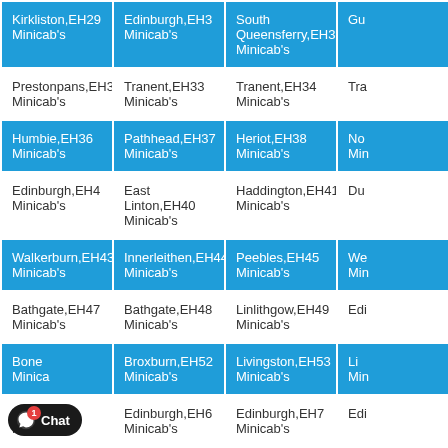| Col1 | Col2 | Col3 | Col4 |
| --- | --- | --- | --- |
| Kirkliston,EH29 Minicab's | Edinburgh,EH3 Minicab's | South Queensferry,EH30 Minicab's | Gu... |
| Prestonpans,EH32 Minicab's | Tranent,EH33 Minicab's | Tranent,EH34 Minicab's | Tra... |
| Humbie,EH36 Minicab's | Pathhead,EH37 Minicab's | Heriot,EH38 Minicab's | No... Min... |
| Edinburgh,EH4 Minicab's | East Linton,EH40 Minicab's | Haddington,EH41 Minicab's | Du... |
| Walkerburn,EH43 Minicab's | Innerleithen,EH44 Minicab's | Peebles,EH45 Minicab's | We... Min... |
| Bathgate,EH47 Minicab's | Bathgate,EH48 Minicab's | Linlithgow,EH49 Minicab's | Edi... |
| Bone... Minica... | Broxburn,EH52 Minicab's | Livingston,EH53 Minicab's | Li... Min... |
| West ... Minica... | Edinburgh,EH6 Minicab's | Edinburgh,EH7 Minicab's | Edi... |
| Edinb... Minica... | Enfield,EN1 Minicab's | Broxbourne,EN10 Minicab's | Ho... Min... |
| ...e Minicab's | Enfield,EN3 Minicab's | Barnet,EN4 Minicab's | Bar... |
Hello there! Good Day! We have Hidden offers on most of our routes, interested to know what lies ...
Chat